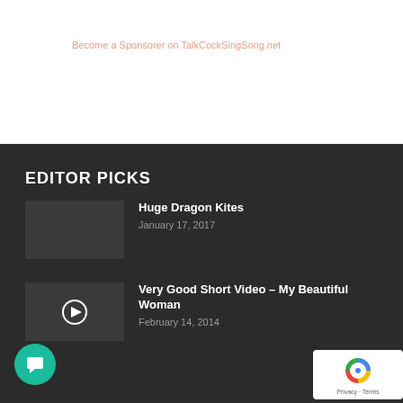Become a Sponsorer on TalkCockSingSong.net
EDITOR PICKS
Huge Dragon Kites
January 17, 2017
Very Good Short Video – My Beautiful Woman
February 14, 2014